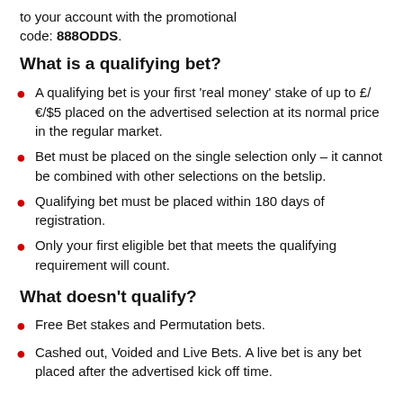to your account with the promotional code: 888ODDS.
What is a qualifying bet?
A qualifying bet is your first 'real money' stake of up to £/€/$5 placed on the advertised selection at its normal price in the regular market.
Bet must be placed on the single selection only – it cannot be combined with other selections on the betslip.
Qualifying bet must be placed within 180 days of registration.
Only your first eligible bet that meets the qualifying requirement will count.
What doesn't qualify?
Free Bet stakes and Permutation bets.
Cashed out, Voided and Live Bets. A live bet is any bet placed after the advertised kick off time.